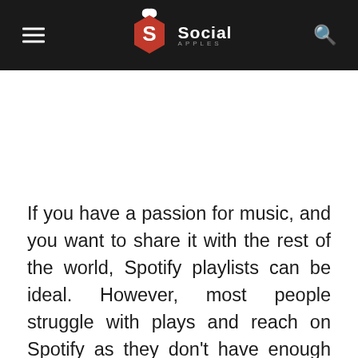Social Apples
If you have a passion for music, and you want to share it with the rest of the world, Spotify playlists can be ideal. However, most people struggle with plays and reach on Spotify as they don't have enough followers. Not just bots, having Spotify organic followers, whether by using organic growth tools or